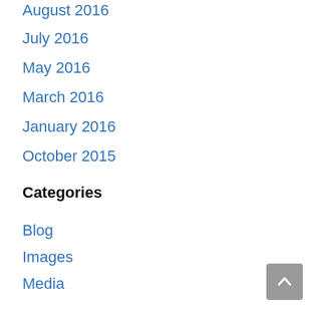August 2016
July 2016
May 2016
March 2016
January 2016
October 2015
Categories
Blog
Images
Media
News & Events
News & Events
Newsletter